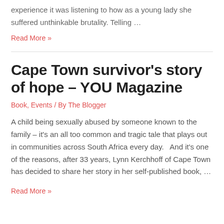experience it was listening to how as a young lady she suffered unthinkable brutality. Telling …
Read More »
Cape Town survivor's story of hope – YOU Magazine
Book, Events / By The Blogger
A child being sexually abused by someone known to the family – it's an all too common and tragic tale that plays out in communities across South Africa every day.   And it's one of the reasons, after 33 years, Lynn Kerchhoff of Cape Town has decided to share her story in her self-published book, …
Read More »